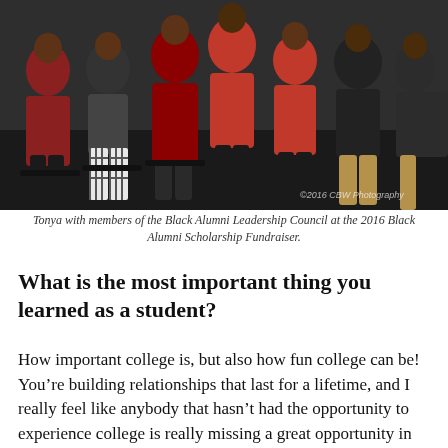[Figure (photo): Group photo of Tonya with members of the Black Alumni Leadership Council at the 2016 Black Alumni Scholarship Fundraiser. Several people seated in a row, many wearing red, against a dark background. A copyright watermark reads '© 2016 CBW Photography'.]
Tonya with members of the Black Alumni Leadership Council at the 2016 Black Alumni Scholarship Fundraiser.
What is the most important thing you learned as a student?
How important college is, but also how fun college can be! You’re building relationships that last for a lifetime, and I really feel like anybody that hasn’t had the opportunity to experience college is really missing a great opportunity in life.